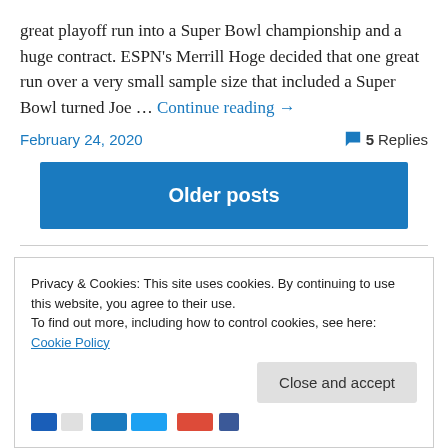great playoff run into a Super Bowl championship and a huge contract. ESPN's Merrill Hoge decided that one great run over a very small sample size that included a Super Bowl turned Joe … Continue reading →
February 24, 2020   5 Replies
Older posts
Privacy & Cookies: This site uses cookies. By continuing to use this website, you agree to their use.
To find out more, including how to control cookies, see here: Cookie Policy
Close and accept